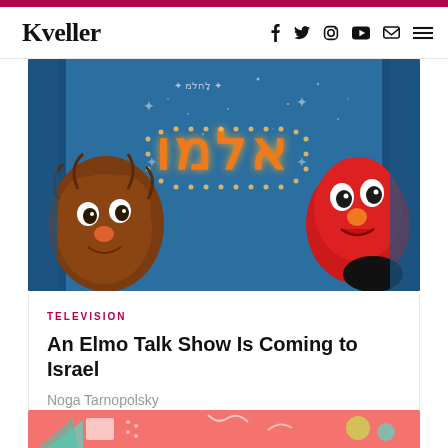Kveller — navigation bar with logo and social icons (Facebook, Twitter, Instagram, YouTube, Email, Menu)
[Figure (photo): Sesame Street muppets — a brown furry muppet on the left and Elmo (red) on the right, against a blue starry background with Hebrew letters spelling 'Elmo' in orange lights]
TELEVISION
An Elmo Talk Show Is Coming to Israel
Noga Tarnopolsky
[Figure (photo): Partial bottom strip of a second article image with pink/coral background and geometric decorative shapes]